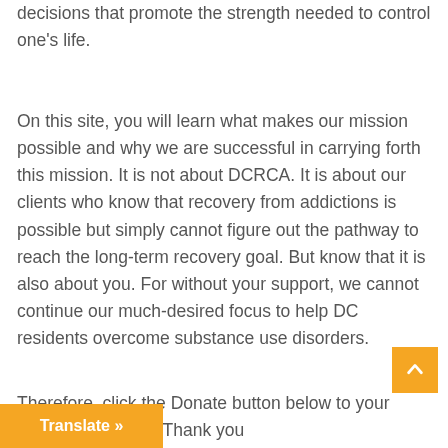decisions that promote the strength needed to control one's life.
On this site, you will learn what makes our mission possible and why we are successful in carrying forth this mission. It is not about DCRCA. It is about our clients who know that recovery from addictions is possible but simply cannot figure out the pathway to reach the long-term recovery goal. But know that it is also about you. For without your support, we cannot continue our much-desired focus to help DC residents overcome substance use disorders.
Therefore, click the Donate button below to your generous support. Thank you
[Figure (other): Orange scroll-to-top button with upward arrow icon]
[Figure (other): Orange Translate button bar at bottom left]